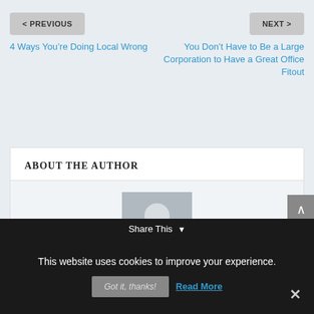< PREVIOUS
NEXT >
4 Ways You’re Doing Local Wrong
You Don’t Have to Be a Large Corporation to Have a Great Office Fitout
ABOUT THE AUTHOR
[Figure (illustration): Default user avatar placeholder — grey silhouette of a person on grey background]
This website uses cookies to improve your experience.
Got it, thanks!
Read More
Share This